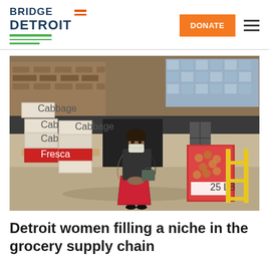BridgeDetroit — DONATE (navigation header)
[Figure (photo): A woman wearing a face mask stands in front of a warehouse/loading dock area surrounded by stacked boxes of produce including Cabbage brand boxes and bags of onions on pallets, with yellow safety rails visible on the right.]
Detroit women filling a niche in the grocery supply chain